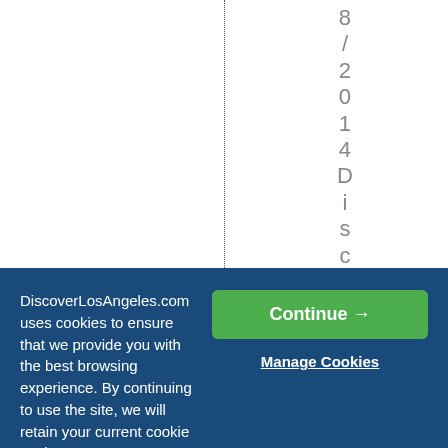8/2014DiscoverLo
DiscoverLosAngeles.com uses cookies to ensure that we provide you with the best browsing experience. By continuing to use the site, we will retain your current cookie settings.
Continue →
Manage Cookies